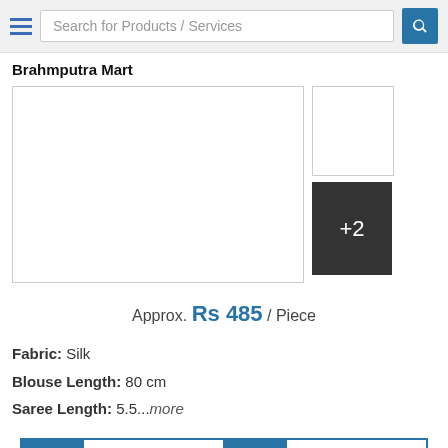Search for Products / Services
Brahmputra Mart
[Figure (photo): Product image area showing a main large white image box and two thumbnail boxes on the right, the second thumbnail is a dark box with '+2' indicating 2 more images]
Approx. Rs 485 / Piece
Fabric: Silk
Blouse Length: 80 cm
Saree Length: 5.5...more
Get Best Price
Call Us
Ladies Fancy Weightless Saree